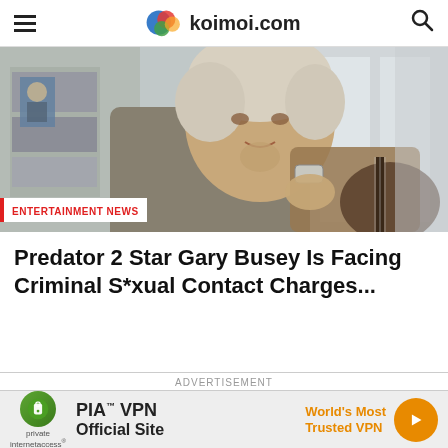koimoi.com
[Figure (photo): Photo of an older man with grey/blonde hair leaning on an acoustic guitar, with books visible in the background. Red label reads ENTERTAINMENT NEWS at bottom left.]
Predator 2 Star Gary Busey Is Facing Criminal S*xual Contact Charges...
ADVERTISEMENT
[Figure (other): PIA VPN advertisement banner: Private Internet Access logo (green circle), PIA VPN Official Site text, World's Most Trusted VPN tagline in orange, orange arrow button.]